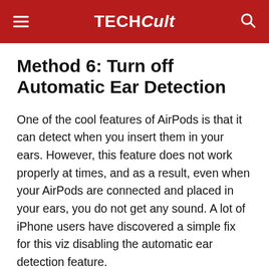TECHCult
Method 6: Turn off Automatic Ear Detection
One of the cool features of AirPods is that it can detect when you insert them in your ears. However, this feature does not work properly at times, and as a result, even when your AirPods are connected and placed in your ears, you do not get any sound. A lot of iPhone users have discovered a simple fix for this viz disabling the automatic ear detection feature.